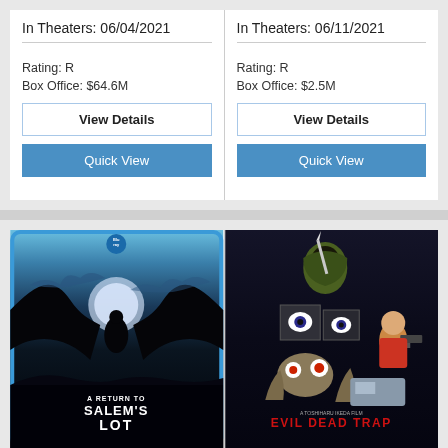In Theaters: 06/04/2021
Rating: R
Box Office: $64.6M
View Details
Quick View
In Theaters: 06/11/2021
Rating: R
Box Office: $2.5M
View Details
Quick View
[Figure (photo): Movie poster for 'A Return to Salem's Lot' - Blu-ray edition, showing dark silhouetted figures against a moonlit blue sky]
[Figure (photo): Movie poster for 'Evil Dead Trap' - showing a hooded figure with knife, a woman with gun, and monster hands, with red title text at bottom]